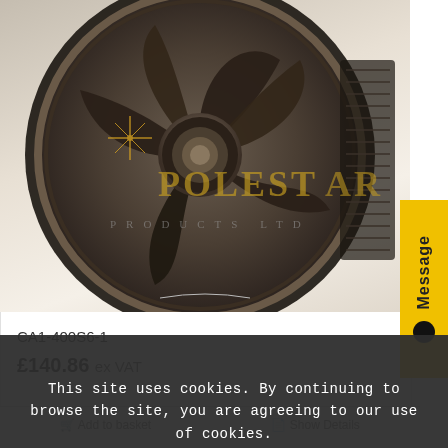[Figure (photo): Industrial axial fan/motor unit photographed from the front, showing dark metallic circular housing with fan blades visible. Polestar Products Ltd watermark logo overlaid in gold/yellow text.]
CA1-400S6-1
£140.86 ex VAT
Message
Add to basket
Show Details
This site uses cookies. By continuing to browse the site, you are agreeing to our use of cookies.
OK
Learn more